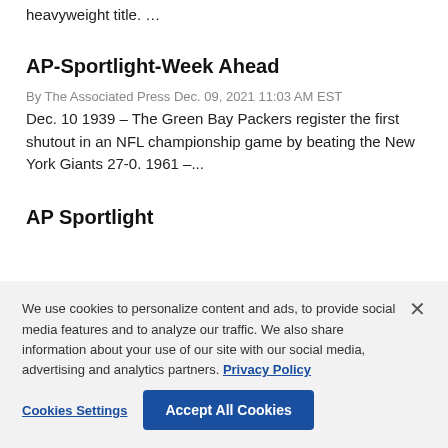heavyweight title. …
AP-Sportlight-Week Ahead
By The Associated Press Dec. 09, 2021 11:03 AM EST
Dec. 10 1939 – The Green Bay Packers register the first shutout in an NFL championship game by beating the New York Giants 27-0. 1961 –...
AP Sportlight
We use cookies to personalize content and ads, to provide social media features and to analyze our traffic. We also share information about your use of our site with our social media, advertising and analytics partners. Privacy Policy
Cookies Settings
Accept All Cookies